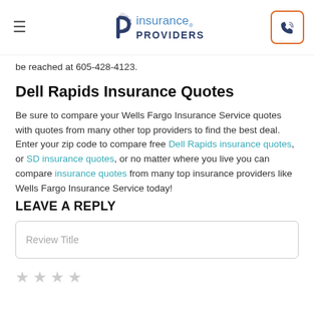Insurance Providers
be reached at 605-428-4123.
Dell Rapids Insurance Quotes
Be sure to compare your Wells Fargo Insurance Service quotes with quotes from many other top providers to find the best deal. Enter your zip code to compare free Dell Rapids insurance quotes, or SD insurance quotes, or no matter where you live you can compare insurance quotes from many top insurance providers like Wells Fargo Insurance Service today!
LEAVE A REPLY
Review Title
[Figure (other): Four empty star rating icons]